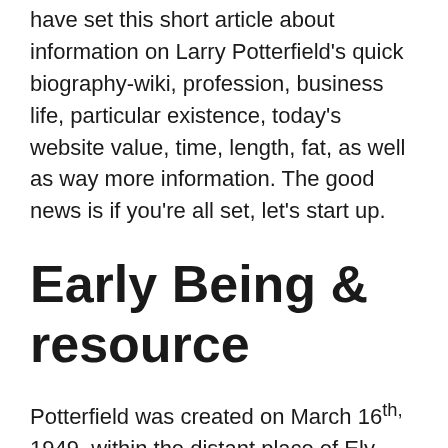have set this short article about information on Larry Potterfield's quick biography-wiki, profession, business life, particular existence, today's website value, time, length, fat, as well as way more information. The good news is if you're all set, let's start up.
Early Being & resource
Potterfield was created on March 16th, 1949, within the distant place of Ely Missouri, Marion state, in a middle-